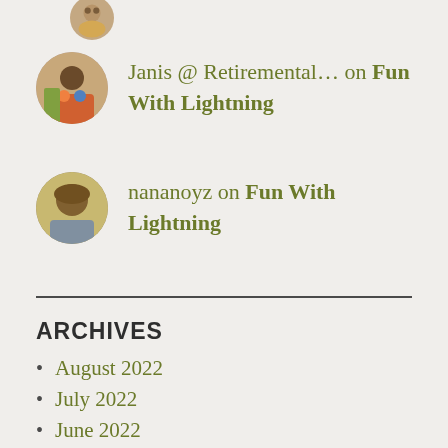[Figure (photo): Circular avatar photo, partially visible at top of page]
Janis @ Retiremental… on Fun With Lightning
[Figure (photo): Circular avatar photo of a person]
nananoyz on Fun With Lightning
ARCHIVES
August 2022
July 2022
June 2022
May 2022
April 2022
March 2022